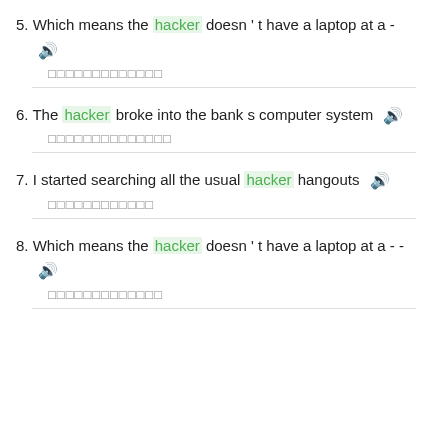5. Which means the hacker doesn ' t have a laptop at a -
6. The hacker broke into the bank s computer system
7. I started searching all the usual hacker hangouts
8. Which means the hacker doesn ' t have a laptop at a - -